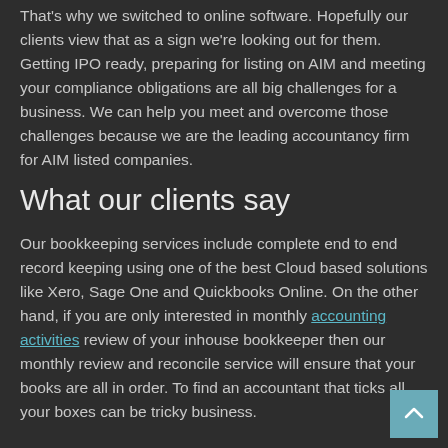That's why we switched to online software. Hopefully our clients view that as a sign we're looking out for them. Getting IPO ready, preparing for listing on AIM and meeting your compliance obligations are all big challenges for a business. We can help you meet and overcome those challenges because we are the leading accountancy firm for AIM listed companies.
What our clients say
Our bookkeeping services include complete end to end record keeping using one of the best Cloud based solutions like Xero, Sage One and Quickbooks Online. On the other hand, if you are only interested in monthly accounting activities review of your inhouse bookkeeper then our monthly review and reconcile service will ensure that your books are all in order. To find an accountant that ticks all your boxes can be tricky business.